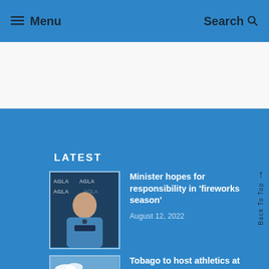≡ Menu   Search
[Figure (photo): White banner area, likely an advertisement placeholder]
LATEST
[Figure (photo): Photo of a woman speaking at a podium with AGLA signage in background]
Minister hopes for responsibility in 'fireworks season'
August 12, 2022
[Figure (photo): Aerial or landscape photo of a green hillside sports venue]
Tobago to host athletics at 2023 Commonwealth Youth Games